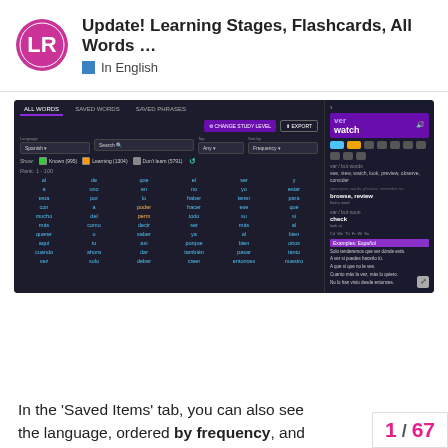Update! Learning Stages, Flashcards, All Words …
In English
[Figure (screenshot): Screenshot of a language learning app showing All Words tab with word list in Spanish sorted by frequency, and a right panel showing the definition of 'ver/watch' with example sentences.]
In the 'Saved Items' tab, you can also see all the words in the language, ordered by frequency, and …